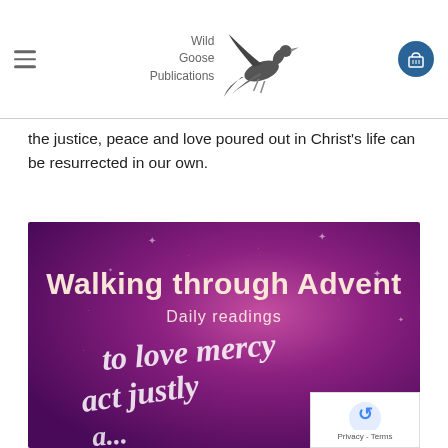Wild Goose Publications
the justice, peace and love poured out in Christ's life can be resurrected in our own.
[Figure (illustration): Book cover for 'Walking through Advent: Daily readings' showing white handwritten text on a purple/magenta gradient background with sparkle/star decorations. Text on cover reads: 'Walking through Advent', 'Daily readings', and handwritten calligraphy style: 'to love mercy act justly a...' (Micah reference). A reCAPTCHA privacy badge is overlaid in the bottom right corner.]